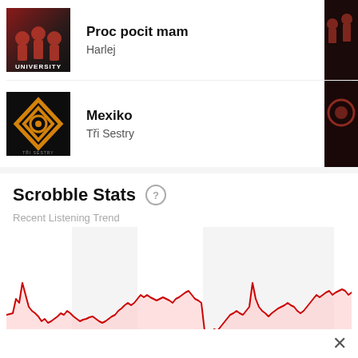[Figure (photo): Album cover for Harlej - university themed with graduates in red, partially visible on left and right edges]
Proc pocit mam
Harlej
[Figure (photo): Album cover for Tri Sestry - Mexiko, dark background with golden diamond logo]
Mexiko
Tři Sestry
Scrobble Stats
Recent Listening Trend
[Figure (continuous-plot): Recent listening trend line chart showing irregular spiky red line over time, with alternating shaded and unshaded column bands in background. High frequency variation throughout.]